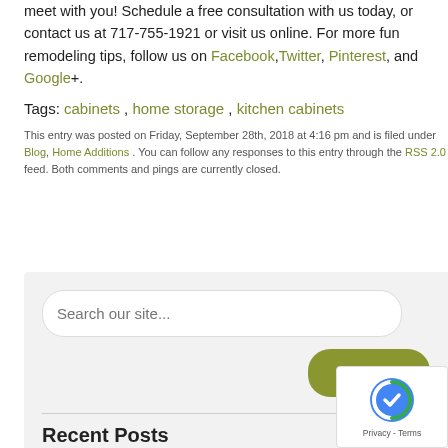meet with you! Schedule a free consultation with us today, or contact us at 717-755-1921 or visit us online. For more fun remodeling tips, follow us on Facebook, Twitter, Pinterest, and Google+.
Tags: cabinets, home storage, kitchen cabinets
This entry was posted on Friday, September 28th, 2018 at 4:16 pm and is filed under Blog, Home Additions . You can follow any responses to this entry through the RSS 2.0 feed. Both comments and pings are currently closed.
[Figure (screenshot): Search box widget with a rounded text input labeled 'Search our site...' and an olive-green Search button]
Recent Posts
3 Factors to Consider Before Selecting Your Kitchen Sink